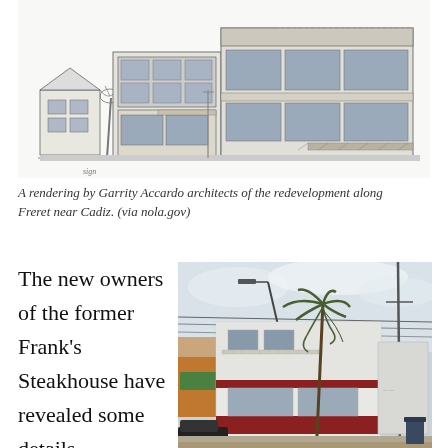[Figure (illustration): Architectural rendering/sketch of a multi-story building redevelopment along Freret near Cadiz, showing a two-story commercial building with large windows and storefronts, drawn in black and white pencil/sketch style by Garrity Accardo architects.]
A rendering by Garrity Accardo architects of the redevelopment along Freret near Cadiz. (via nola.gov)
The new owners of the former Frank's Steakhouse have revealed some details
[Figure (photo): Photograph of the former Frank's Steakhouse building, a two-story white building with red trim, with a palm tree in front, showing a new wall enclosing the former laundry on the old Frank's Steak property.]
Workers have added a new wall enclosing the former laundry on the old Frank's Steak